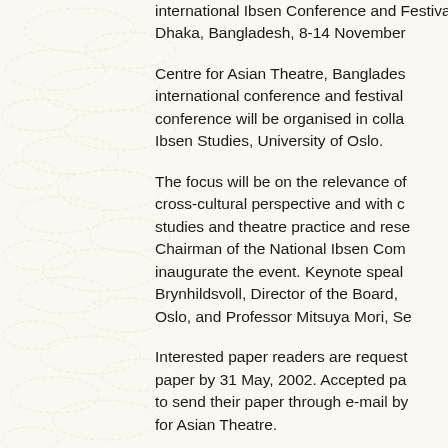international Ibsen Conference and Festival, Dhaka, Bangladesh, 8-14 November
Centre for Asian Theatre, Bangladesh. This international conference and festival ... conference will be organised in collaboration with Ibsen Studies, University of Oslo.
The focus will be on the relevance of Ibsen in cross-cultural perspective and with connection to studies and theatre practice and research. The Chairman of the National Ibsen Committee will inaugurate the event. Keynote speakers: Vigdis Brynhildsvoll, Director of the Board, Centre for Oslo, and Professor Mitsuya Mori, Se...
Interested paper readers are requested to send paper by 31 May, 2002. Accepted paper readers to send their paper through e-mail by ... for Asian Theatre.
For all paper readers at the conference: accommodation, breakfast, lunch, dinner, transfers from/to airport and to/from festival venue, entry passes for the festival performances, registration fees for selected festival...